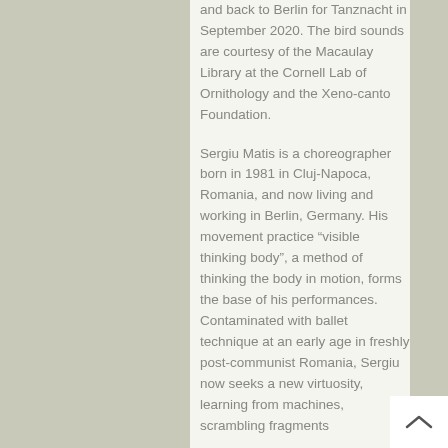and back to Berlin for Tanznacht in September 2020. The bird sounds are courtesy of the Macaulay Library at the Cornell Lab of Ornithology and the Xeno-canto Foundation.
Sergiu Matis is a choreographer born in 1981 in Cluj-Napoca, Romania, and now living and working in Berlin, Germany. His movement practice “visible thinking body”, a method of thinking the body in motion, forms the base of his performances. Contaminated with ballet technique at an early age in freshly post-communist Romania, Sergiu now seeks a new virtuosity, learning from machines, scrambling fragments